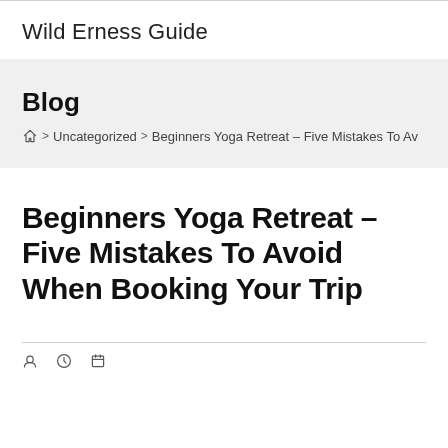Wild Erness Guide
Blog
Home > Uncategorized > Beginners Yoga Retreat – Five Mistakes To Av…
Beginners Yoga Retreat – Five Mistakes To Avoid When Booking Your Trip